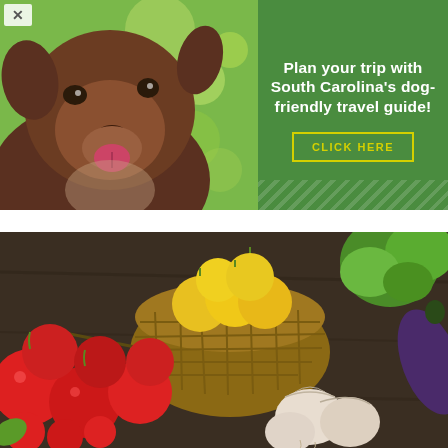[Figure (photo): Close-up photograph of a smiling brown dog (bear-like face) with green bokeh background]
Plan your trip with South Carolina's dog-friendly travel guide!
CLICK HERE
[Figure (photo): Overhead photograph of fresh vegetables including red tomatoes on the vine, yellow tomatoes in a wicker basket, garlic bulbs, green basil, and eggplant on a dark wooden surface]